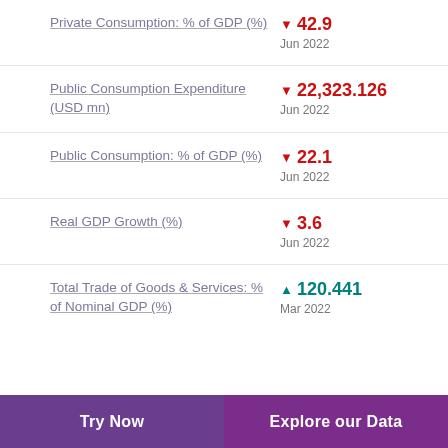Private Consumption: % of GDP (%) ▼ 42.9 Jun 2022
Public Consumption Expenditure (USD mn) ▼ 22,323.126 Jun 2022
Public Consumption: % of GDP (%) ▼ 22.1 Jun 2022
Real GDP Growth (%) ▼ 3.6 Jun 2022
Total Trade of Goods & Services: % of Nominal GDP (%) ▲ 120.441 Mar 2022
Try Now    Explore our Data